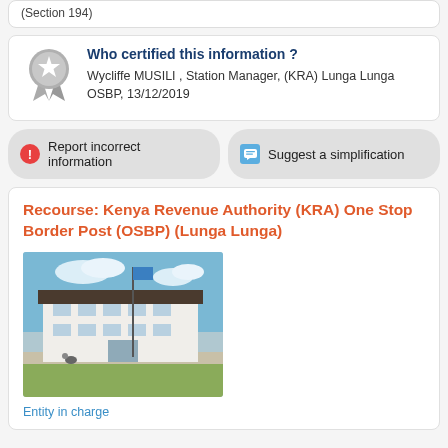(Section 194)
Who certified this information ?
Wycliffe MUSILI , Station Manager, (KRA) Lunga Lunga OSBP, 13/12/2019
Report incorrect information
Suggest a simplification
Recourse: Kenya Revenue Authority (KRA) One Stop Border Post (OSBP) (Lunga Lunga)
[Figure (photo): Photograph of the Kenya Revenue Authority One Stop Border Post building at Lunga Lunga, a two-storey white building with a dark roof and a flag pole in front]
Entity in charge